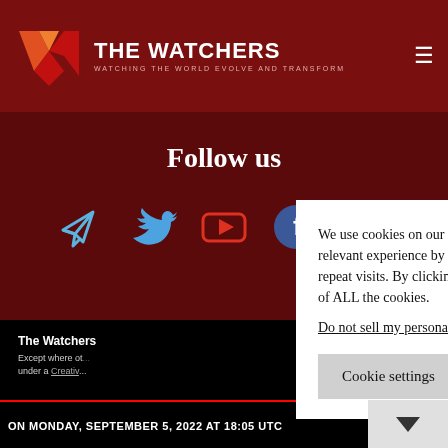THE WATCHERS — WATCHING THE WORLD EVOLVE AND TRANSFORM
Follow us
[Figure (illustration): Social media icons: Telegram (blue), Twitter (blue bird), YouTube (red play button), Facebook (blue circle with f), RSS (orange)]
The Watchers
Except where otherwise noted, content on this site is licensed under a Creative...
We use cookies on our website to give you the most relevant experience by remembering your preferences and repeat visits. By clicking "Accept", you consent to the use of ALL the cookies.
Do not sell my personal information.
ON MONDAY, SEPTEMBER 5, 2022 AT 18:05 UTC